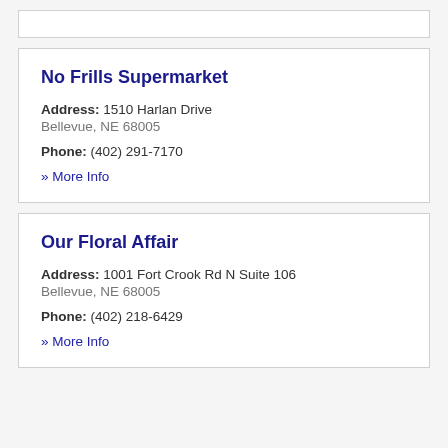No Frills Supermarket
Address: 1510 Harlan Drive
Bellevue, NE 68005
Phone: (402) 291-7170
» More Info
Our Floral Affair
Address: 1001 Fort Crook Rd N Suite 106
Bellevue, NE 68005
Phone: (402) 218-6429
» More Info